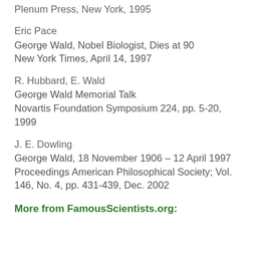Plenum Press, New York, 1995
Eric Pace
George Wald, Nobel Biologist, Dies at 90
New York Times, April 14, 1997
R. Hubbard, E. Wald
George Wald Memorial Talk
Novartis Foundation Symposium 224, pp. 5-20, 1999
J. E. Dowling
George Wald, 18 November 1906 – 12 April 1997
Proceedings American Philosophical Society; Vol. 146, No. 4, pp. 431-439, Dec. 2002
More from FamousScientists.org: